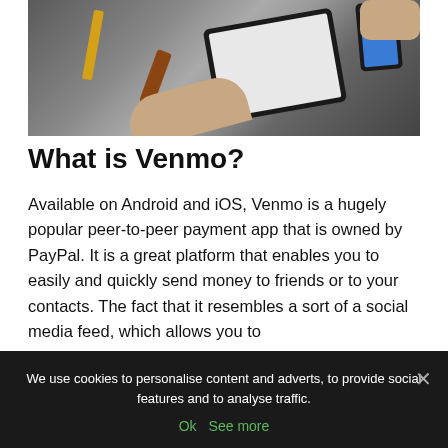[Figure (photo): Overhead photo of hands using a tablet and smartphone on a desk with scissors, pencil and other items on a grey surface]
What is Venmo?
Available on Android and iOS, Venmo is a hugely popular peer-to-peer payment app that is owned by PayPal. It is a great platform that enables you to easily and quickly send money to friends or to your contacts. The fact that it resembles a sort of a social media feed, which allows you to
We use cookies to personalise content and adverts, to provide social features and to analyse traffic.
Ok  See more